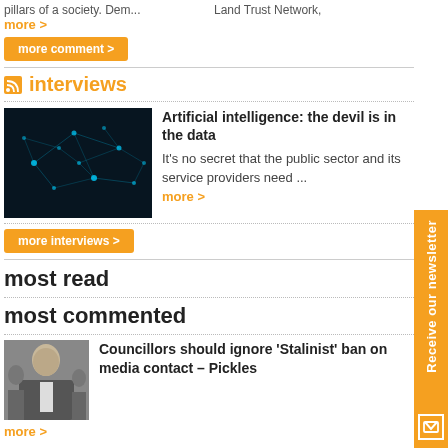pillars of a society. Dem... more >
Land Trust Network,
more comment >
interviews
[Figure (photo): Dark abstract network/AI image with glowing blue nodes and connections]
Artificial intelligence: the devil is in the data
It's no secret that the public sector and its service providers need ... more >
more interviews >
most read
most commented
[Figure (photo): Photo of older man in suit speaking, with others in background]
Councillors should ignore 'Stalinist' ban on media contact – Pickles
more >